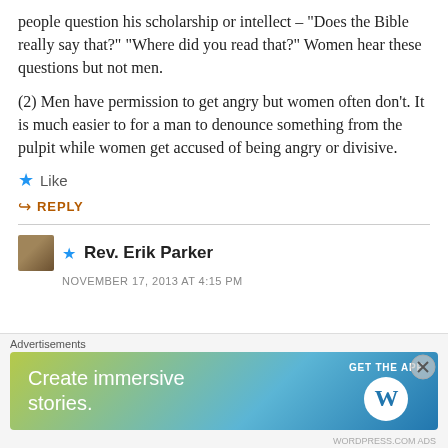people question his scholarship or intellect – "Does the Bible really say that?" "Where did you read that?" Women hear these questions but not men.
(2) Men have permission to get angry but women often don't. It is much easier to for a man to denounce something from the pulpit while women get accused of being angry or divisive.
★ Like
↪ REPLY
★ Rev. Erik Parker
NOVEMBER 17, 2013 AT 4:15 PM
[Figure (other): Advertisement banner: 'Create immersive stories. GET THE APP' with WordPress logo]
Advertisements